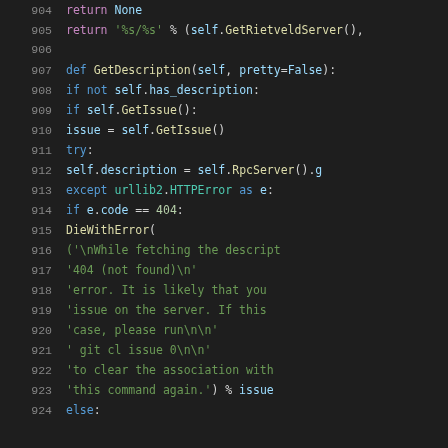[Figure (screenshot): Python source code snippet showing lines 904-924, displaying a method GetDescription with error handling logic including urllib2.HTTPError and DieWithError calls.]